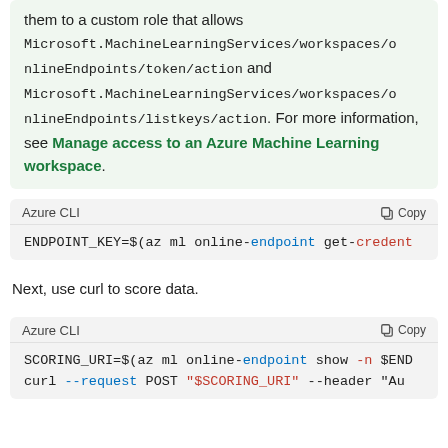them to a custom role that allows Microsoft.MachineLearningServices/workspaces/onlineEndpoints/token/action and Microsoft.MachineLearningServices/workspaces/onlineEndpoints/listkeys/action. For more information, see Manage access to an Azure Machine Learning workspace.
Azure CLI   Copy
ENDPOINT_KEY=$(az ml online-endpoint get-credent
Next, use curl to score data.
Azure CLI   Copy
SCORING_URI=$(az ml online-endpoint show -n $END
curl --request POST "$SCORING_URI" --header "Au